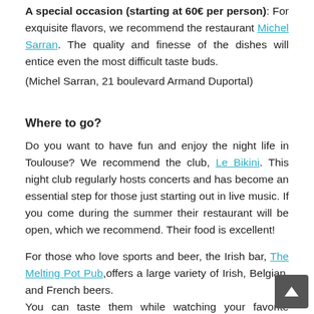A special occasion (starting at 60€ per person): For exquisite flavors, we recommend the restaurant Michel Sarran. The quality and finesse of the dishes will entice even the most difficult taste buds.
(Michel Sarran, 21 boulevard Armand Duportal)
Where to go?
Do you want to have fun and enjoy the night life in Toulouse? We recommend the club, Le Bikini. This night club regularly hosts concerts and has become an essential step for those just starting out in live music. If you come during the summer their restaurant will be open, which we recommend. Their food is excellent!
For those who love sports and beer, the Irish bar, The Melting Pot Pub, offers a large variety of Irish, Belgian, and French beers. You can taste them while watching your favorite match, shown